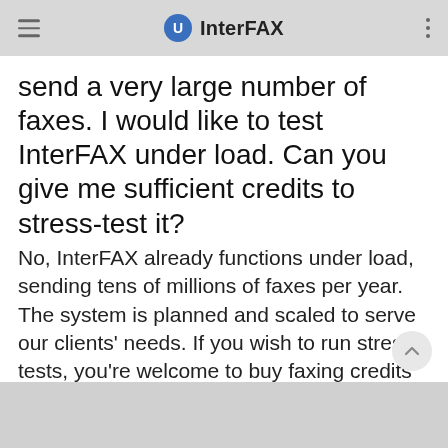InterFAX
send a very large number of faxes. I would like to test InterFAX under load. Can you give me sufficient credits to stress-test it?
No, InterFAX already functions under load, sending tens of millions of faxes per year. The system is planned and scaled to serve our clients' needs. If you wish to run stress tests, you're welcome to buy faxing credits to do so.